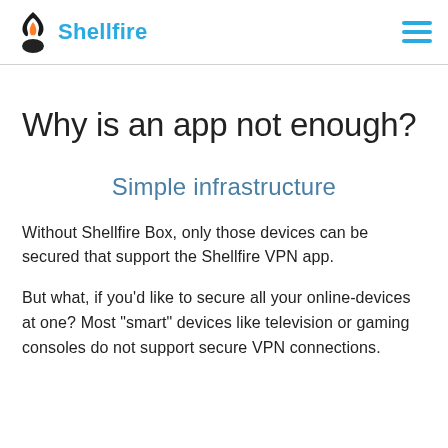Shellfire
Why is an app not enough?
Simple infrastructure
Without Shellfire Box, only those devices can be secured that support the Shellfire VPN app.
But what, if you'd like to secure all your online-devices at one? Most "smart" devices like television or gaming consoles do not support secure VPN connections.